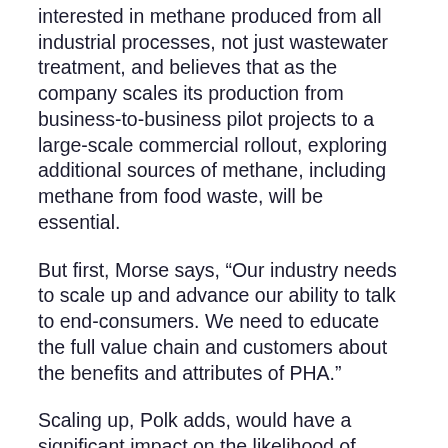interested in methane produced from all industrial processes, not just wastewater treatment, and believes that as the company scales its production from business-to-business pilot projects to a large-scale commercial rollout, exploring additional sources of methane, including methane from food waste, will be essential.
But first, Morse says, “Our industry needs to scale up and advance our ability to talk to end-consumers. We need to educate the full value chain and customers about the benefits and attributes of PHA.”
Scaling up, Polk adds, would have a significant impact on the likelihood of replacing toxic, single-use plastics with biodegradable, compostable polymers. Consumer demand is leading companies to research options for swapping their single-use plastic packaging for materials made from food waste, which, in turn, helps boost PHA production and get closer to widespread commercialization. Cost remains a major